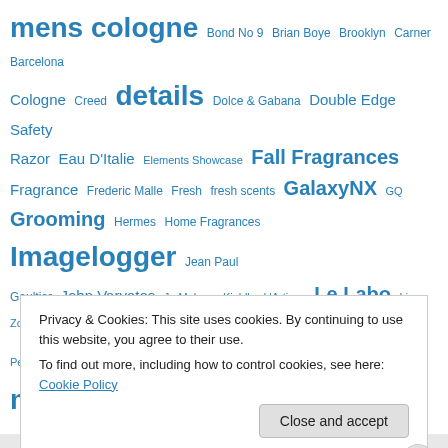[Figure (other): Tag cloud of fragrance and cologne related terms in various font sizes, all in blue. Terms include: mens cologne, Bond No 9, Brian Boye, Brooklyn, Carner Barcelona, Cologne, Creed, details, Dolce & Gabana, Double Edge Safety Razor, Eau D'Italie, Elements Showcase, Fall Fragrances, Fragrance, Frederic Malle, Fresh, fresh scents, GalaxyNX, GQ, Grooming, Hermes, Home Fragrances, Imagelogger, Jean Paul Gaultier, John Varvatos, Jo Malone, Kiehl's, L'Artisan, Le Labo, Liz Zorn Perfumes, Masculine scents, Men's Colgone, men's cologne, Men's Fragrance, Men's]
Privacy & Cookies: This site uses cookies. By continuing to use this website, you agree to their use. To find out more, including how to control cookies, see here: Cookie Policy
Close and accept